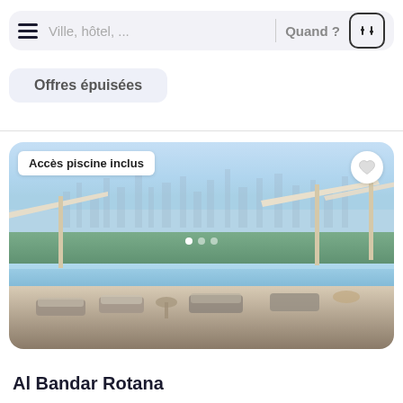Ville, hôtel, ... | Quand ?
Offres épuisées
[Figure (photo): Hotel rooftop pool area with white umbrellas and lounge chairs, Dubai skyline visible in the background under hazy blue sky]
Accès piscine inclus
Al Bandar Rotana